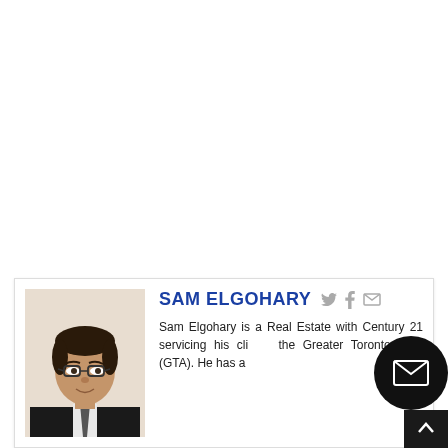[Figure (photo): Profile photo of Sam Elgohary, a man with glasses wearing a dark jacket and tie, against a light background.]
SAM ELGOHARY
Sam Elgohary is a Real Estate with Century 21 servicing his clients the Greater Toronto Area (GTA). He has a